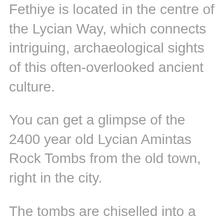Fethiye is located in the centre of the Lycian Way, which connects intriguing, archaeological sights of this often-overlooked ancient culture.
You can get a glimpse of the 2400 year old Lycian Amintas Rock Tombs from the old town, right in the city.
The tombs are chiselled into a sheer vertical rock-face, and extensively decorated with freezes and free-standing columns – a truly royal appearance.